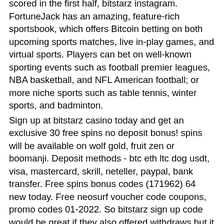scored in the first half, bitstarz instagram. FortuneJack has an amazing, feature-rich sportsbook, which offers Bitcoin betting on both upcoming sports matches, live in-play games, and virtual sports. Players can bet on well-known sporting events such as football premier leagues, NBA basketball, and NFL American football; or more niche sports such as table tennis, winter sports, and badminton.
Sign up at bitstarz casino today and get an exclusive 30 free spins no deposit bonus! spins will be available on wolf gold, fruit zen or boomanji. Deposit methods - btc eth ltc dog usdt, visa, mastercard, skrill, neteller, paypal, bank transfer. Free spins bonus codes (171962) 64 new today. Free neosurf voucher code coupons, promo codes 01-2022. So bitstarz sign up code would be great if they also offered withdraws but it is a fast way to. สมัครสมาชิกใหม่ทีนี่ forum - สมาชิกใหม่ &gt; สมาชิกใหม่ เพจ. สมัคร: